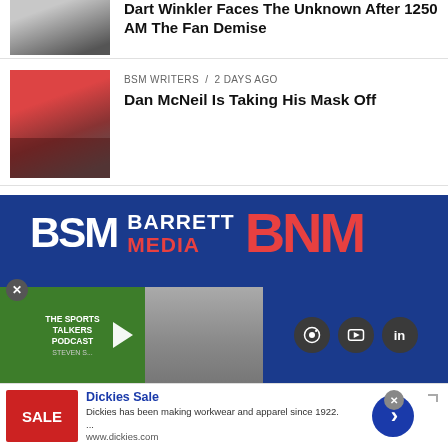[Figure (photo): Thumbnail photo of a person with arms crossed, partially visible at top]
Dart Winkler Faces The Unknown After 1250 AM The Fan Demise
[Figure (photo): Thumbnail photo of Dan McNeil wearing a red visor and headphones at a microphone]
BSM WRITERS / 2 days ago
Dan McNeil Is Taking His Mask Off
[Figure (logo): Barrett Sports Media BSM and BNM logo advertisement banner on dark blue background with podcast and social media icons]
[Figure (infographic): Dickies Sale advertisement - Dickies has been making workwear and apparel since 1922. www.dickies.com]